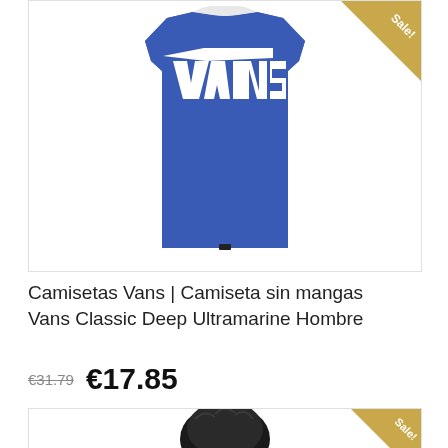[Figure (photo): Blue Vans sleeveless tank top with white VANS logo on chest, displayed on white background. Sale badge in top-right corner.]
Camisetas Vans | Camiseta sin mangas Vans Classic Deep Ultramarine Hombre
€31.79  €17.85
[Figure (photo): Partial view of second product image showing person's head/hair from behind, with Sale! badge in top-right corner.]